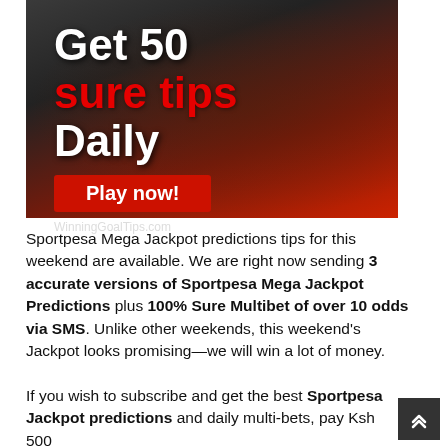[Figure (illustration): Advertisement banner for WinningGoalTips.com showing football players and text 'Get 50 sure tips Daily' with a red 'Play now!' button]
Sportpesa Mega Jackpot predictions tips for this weekend are available. We are right now sending 3 accurate versions of Sportpesa Mega Jackpot Predictions plus 100% Sure Multibet of over 10 odds via SMS. Unlike other weekends, this weekend's Jackpot looks promising—we will win a lot of money.
If you wish to subscribe and get the best Sportpesa Jackpot predictions and daily multi-bets, pay Ksh 500